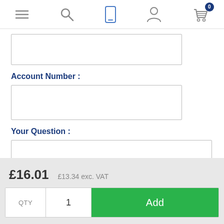Navigation bar with hamburger menu, search, mobile, user, and basket (0) icons
Account Number :
Your Question :
£16.01  £13.34 exc. VAT
QTY  1  Add